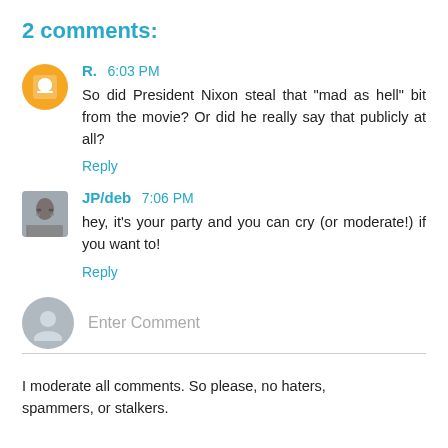2 comments:
R. 6:03 PM
So did President Nixon steal that "mad as hell" bit from the movie? Or did he really say that publicly at all?
Reply
JP/deb 7:06 PM
hey, it's your party and you can cry (or moderate!) if you want to!
Reply
Enter Comment
I moderate all comments. So please, no haters, spammers, or stalkers.